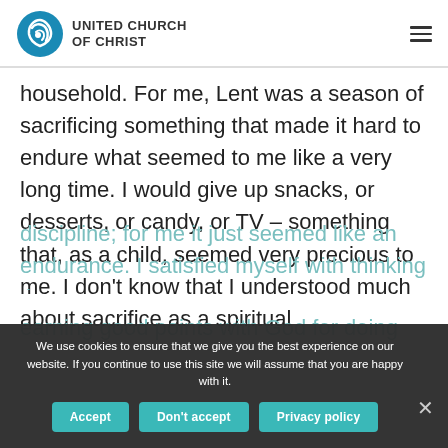UNITED CHURCH OF CHRIST
household. For me, Lent was a season of sacrificing something that made it hard to endure what seemed to me like a very long time. I would give up snacks, or desserts, or candy, or TV – something that, as a child, seemed very precious to me. I don't know that I understood much about sacrifice as a spiritual discipline; for me it just seemed like an endurance. I satisfied myself with thinking that I was earning good points with God for doing this.
We use cookies to ensure that we give you the best experience on our website. If you continue to use this site we will assume that you are happy with it.